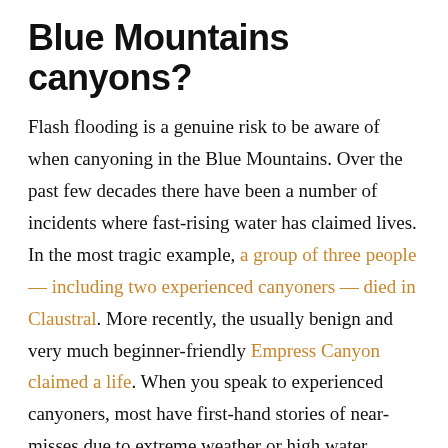Blue Mountains canyons?
Flash flooding is a genuine risk to be aware of when canyoning in the Blue Mountains. Over the past few decades there have been a number of incidents where fast-rising water has claimed lives. In the most tragic example, a group of three people — including two experienced canyoners — died in Claustral. More recently, the usually benign and very much beginner-friendly Empress Canyon claimed a life. When you speak to experienced canyoners, most have first-hand stories of near-misses due to extreme weather or high water levels. Or simply look up at the logs jammed high between the canyon walls on your